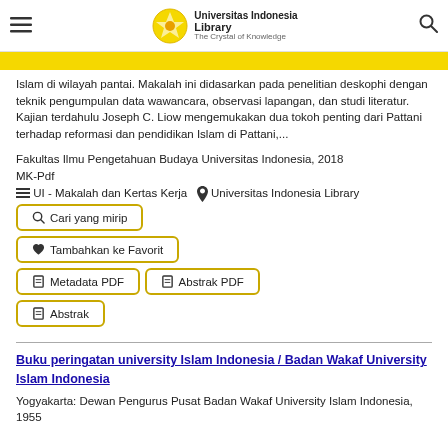Universitas Indonesia Library - The Crystal of Knowledge
Islam di wilayah pantai. Makalah ini didasarkan pada penelitian deskophi dengan teknik pengumpulan data wawancara, observasi lapangan, dan studi literatur. Kajian terdahulu Joseph C. Liow mengemukakan dua tokoh penting dari Pattani terhadap reformasi dan pendidikan Islam di Pattani,...
Fakultas Ilmu Pengetahuan Budaya Universitas Indonesia, 2018
MK-Pdf
🗂 UI - Makalah dan Kertas Kerja 📍 Universitas Indonesia Library
🔍 Cari yang mirip
♥ Tambahkan ke Favorit
📄 Metadata PDF   📄 Abstrak PDF
📄 Abstrak
Buku peringatan university Islam Indonesia / Badan Wakaf University Islam Indonesia
Yogyakarta: Dewan Pengurus Pusat Badan Wakaf University Islam Indonesia, 1955